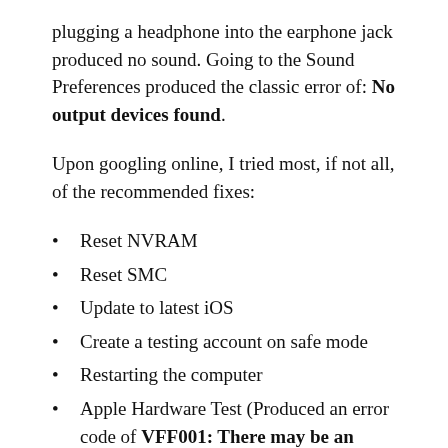plugging a headphone into the earphone jack produced no sound. Going to the Sound Preferences produced the classic error of: No output devices found.
Upon googling online, I tried most, if not all, of the recommended fixes:
Reset NVRAM
Reset SMC
Update to latest iOS
Create a testing account on safe mode
Restarting the computer
Apple Hardware Test (Produced an error code of VFF001: There may be an issue with the audio hardware)